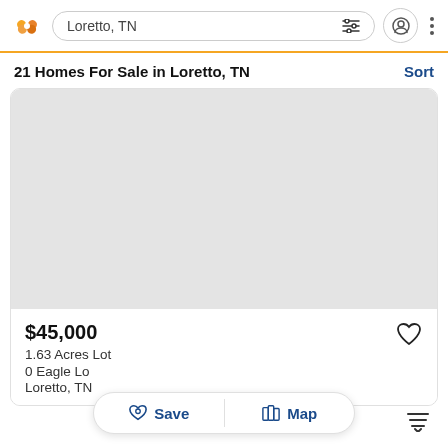Loretto, TN
21 Homes For Sale in Loretto, TN
[Figure (screenshot): Gray placeholder map/photo area for property listing]
$45,000
1.63 Acres Lot
0 Eagle Lo...
Loretto, TN...